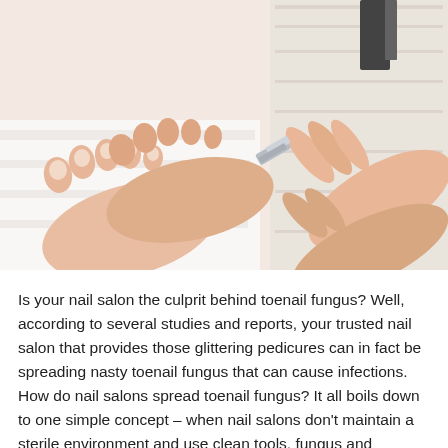[Figure (photo): A pedicure scene showing two bare feet resting on a white towel, with a nail technician's hands using a nail clipper on the toenails. Background includes a white wooden surface and what appears to be a spa/salon setting.]
Is your nail salon the culprit behind toenail fungus? Well, according to several studies and reports, your trusted nail salon that provides those glittering pedicures can in fact be spreading nasty toenail fungus that can cause infections. How do nail salons spread toenail fungus? It all boils down to one simple concept – when nail salons don't maintain a sterile environment and use clean tools, fungus and